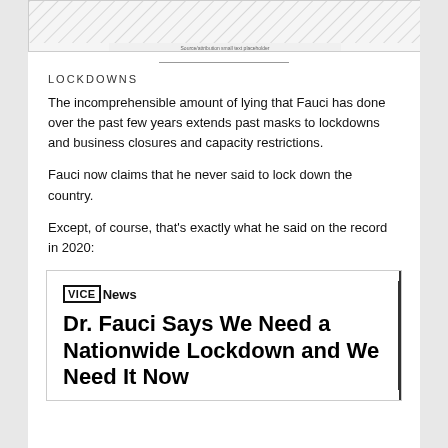[Figure (other): Cropped top portion of a chart or image with diagonal hatching lines and small text at bottom]
LOCKDOWNS
The incomprehensible amount of lying that Fauci has done over the past few years extends past masks to lockdowns and business closures and capacity restrictions.
Fauci now claims that he never said to lock down the country.
Except, of course, that's exactly what he said on the record in 2020:
[Figure (screenshot): Vice News article card with headline: Dr. Fauci Says We Need a Nationwide Lockdown and We Need It Now]